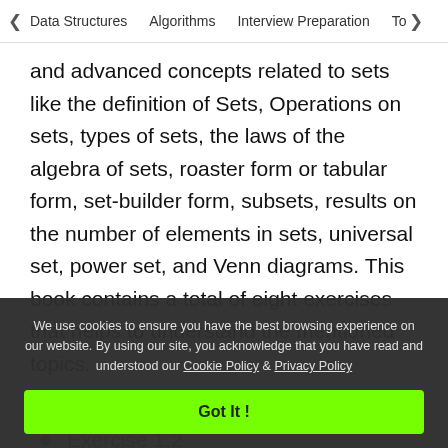< Data Structures   Algorithms   Interview Preparation   To>
and advanced concepts related to sets like the definition of Sets, Operations on sets, types of sets, the laws of the algebra of sets, roaster form or tabular form, set-builder form, subsets, results on the number of elements in sets, universal set, power set, and Venn diagrams. This book contains a total of eight exercises that helps to understand the mentioned topics.
Exercise 1.1
Exercise 1.2
We use cookies to ensure you have the best browsing experience on our website. By using our site, you acknowledge that you have read and understood our Cookie Policy & Privacy Policy
Got It !